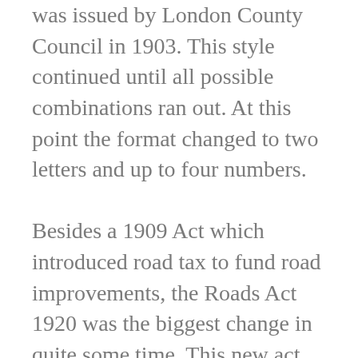was issued by London County Council in 1903. This style continued until all possible combinations ran out. At this point the format changed to two letters and up to four numbers. Besides a 1909 Act which introduced road tax to fund road improvements, the Roads Act 1920 was the biggest change in quite some time. This new act changed the registration process so that Councils had to register all vehicles at the time of licensing, assigning a separate number to each vehicle. Different councils were allowed different characters for their licensing. For example, number plates